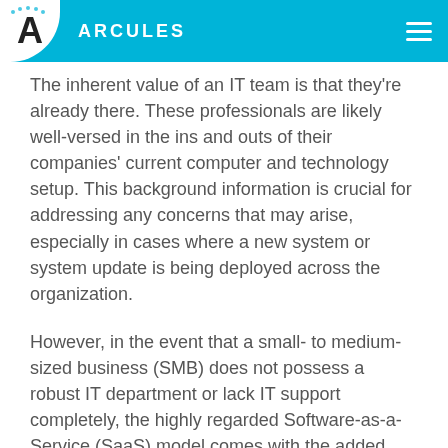ARCULES
The inherent value of an IT team is that they're already there. These professionals are likely well-versed in the ins and outs of their companies' current computer and technology setup. This background information is crucial for addressing any concerns that may arise, especially in cases where a new system or system update is being deployed across the organization.
However, in the event that a small- to medium-sized business (SMB) does not possess a robust IT department or lack IT support completely, the highly regarded Software-as-a-Service (SaaS) model comes with the added benefit of IT specialty. Specifically, for a company that leverages the cloud with